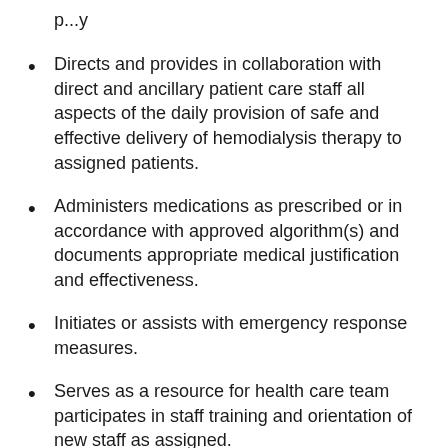Directs and provides in collaboration with direct and ancillary patient care staff all aspects of the daily provision of safe and effective delivery of hemodialysis therapy to assigned patients.
Administers medications as prescribed or in accordance with approved algorithm(s) and documents appropriate medical justification and effectiveness.
Initiates or assists with emergency response measures.
Serves as a resource for health care team participates in staff training and orientation of new staff as assigned.
Ensures correct laboratory collection processing and shipping procedures are